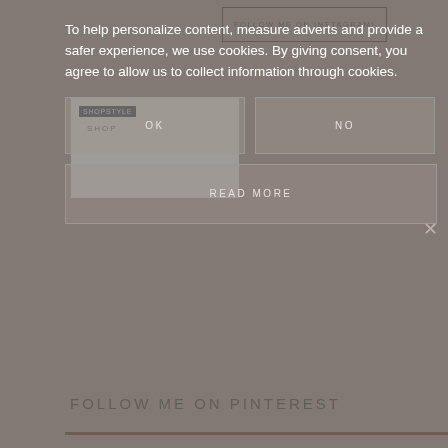FOLLOW ME ON INSTAGRAM!
[Figure (screenshot): ShopStyle widget with SHOPSTYLE label in dark navy and SHOP text below]
To help personalize content, measure adverts and provide a safer experience, we use cookies. By giving consent, you agree to allow us to collect information through cookies.
OK
NO
READ MORE
FOLLOW ME ON PINTEREST
[Figure (logo): Pinterest widget button showing red Pinterest logo and WhatErikaWears text]